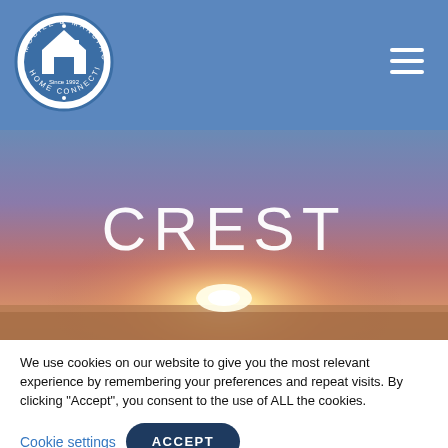[Figure (logo): Mobile & Manufactured Home Connection circular logo with house icon, Since 1992]
[Figure (photo): Sunset landscape hero image with warm orange and purple sky tones and bright sun on horizon with text CREST overlaid in white]
We use cookies on our website to give you the most relevant experience by remembering your preferences and repeat visits. By clicking “Accept”, you consent to the use of ALL the cookies. Do not sell my personal information.
Cookie settings  ACCEPT